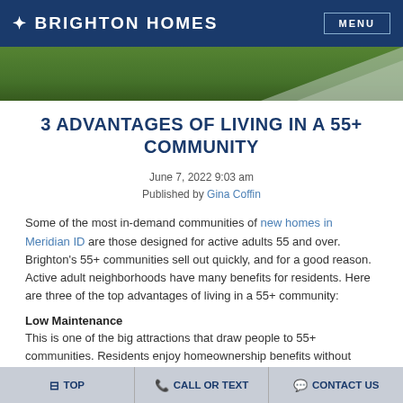BRIGHTON HOMES | MENU
[Figure (photo): Aerial or landscape photo showing green grass lawn and a light-colored pathway or driveway]
3 ADVANTAGES OF LIVING IN A 55+ COMMUNITY
June 7, 2022 9:03 am
Published by Gina Coffin
Some of the most in-demand communities of new homes in Meridian ID are those designed for active adults 55 and over. Brighton's 55+ communities sell out quickly, and for a good reason. Active adult neighborhoods have many benefits for residents. Here are three of the top advantages of living in a 55+ community:
Low Maintenance
This is one of the big attractions that draw people to 55+ communities. Residents enjoy homeownership benefits without dealing with tedious and
TOP | CALL OR TEXT | CONTACT US